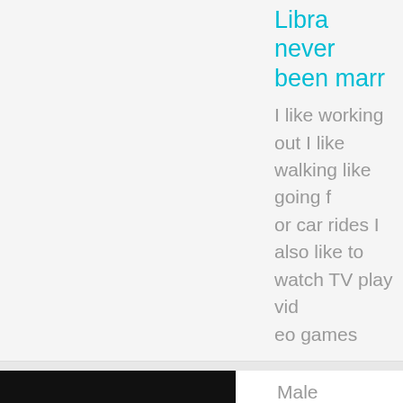Libra never been marr
I like working out I like walking like going for car rides I also like to watch TV play video games
[Figure (photo): Dark profile photo of a person with label 'Lonely3020' at the bottom left]
Male
Straight
Age:
35
USA,
Ohio,
Columbus
My motto is a laugh a day will